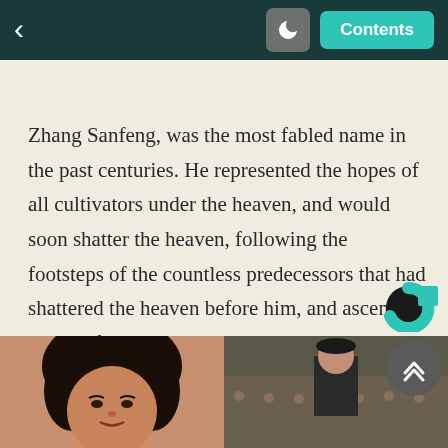< [moon icon] Contents
Zhang Sanfeng, was the most fabled name in the past centuries. He represented the hopes of all cultivators under the heaven, and would soon shatter the heaven, following the footsteps of the countless predecessors that had shattered the heaven before him, and ascend to a beautiful environment which the legends spoke of; the celestial realm, where there was no aging or death.
[Figure (photo): Two photos at the bottom of the page: left shows a woman with curly dark hair, right shows a crowd scene with a figure in military-style clothing.]